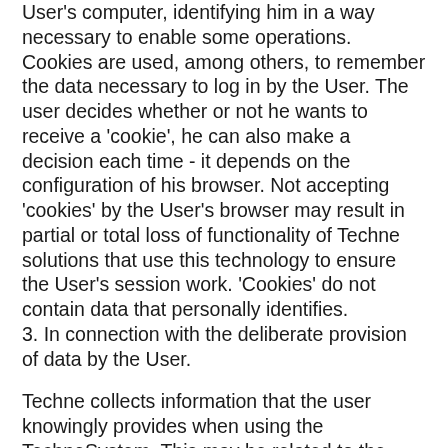User's computer, identifying him in a way necessary to enable some operations. Cookies are used, among others, to remember the data necessary to log in by the User. The user decides whether or not he wants to receive a 'cookie', he can also make a decision each time - it depends on the configuration of his browser. Not accepting 'cookies' by the User's browser may result in partial or total loss of functionality of Techne solutions that use this technology to ensure the User's session work. 'Cookies' do not contain data that personally identifies.
3. In connection with the deliberate provision of data by the User.
Techne collects information that the user knowingly provides when using the TechneSystem. This may be related to the implementation of the contract between the user and Techne - in this situation, providing data may condition access to the service or the possibility of providing it. Frequently collected information is personal data. Techne uses such information, among other things, to identify the user